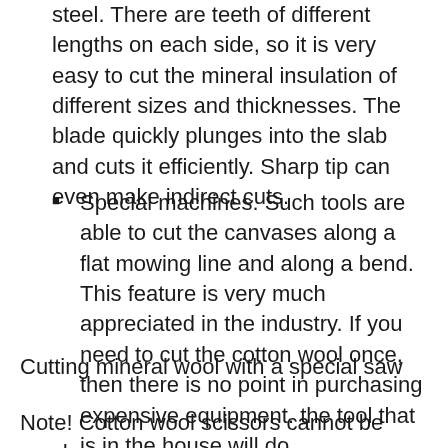steel. There are teeth of different lengths on each side, so it is very easy to cut the mineral insulation of different sizes and thicknesses. The blade quickly plunges into the slab and cuts it efficiently. Sharp tip can even make indirect cuts.
Special machines. Such tools are able to cut the canvases along a flat mowing line and along a bend. This feature is very much appreciated in the industry. If you need to cut the cotton wool once, then there is no point in purchasing expensive equipment. the tool that is in the house will do.
Cutting mineral wool with a special saw
Note! Cotton wool scissors cannot be used.